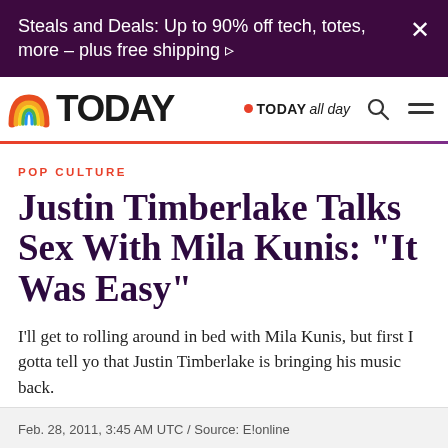Steals and Deals: Up to 90% off tech, totes, more – plus free shipping ›
[Figure (logo): TODAY show logo with rainbow arc icon and TODAY ALL DAY text with red dot, search icon, and hamburger menu]
POP CULTURE
Justin Timberlake Talks Sex With Mila Kunis: "It Was Easy"
I'll get to rolling around in bed with Mila Kunis, but first I gotta tell yo that Justin Timberlake is bringing his music back.
Feb. 28, 2011, 3:45 AM UTC / Source: E!online